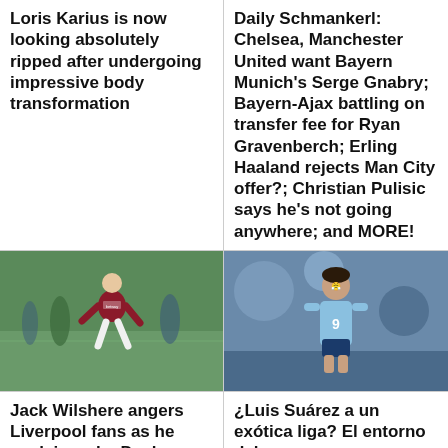Loris Karius is now looking absolutely ripped after undergoing impressive body transformation
Daily Schmankerl: Chelsea, Manchester United want Bayern Munich's Serge Gnabry; Bayern-Ajax battling on transfer fee for Ryan Gravenberch; Erling Haaland rejects Man City offer?; Christian Pulisic says he's not going anywhere; and MORE!
[Figure (photo): Soccer player in maroon West Ham kit running on a pitch with betway sponsor logo]
[Figure (photo): Player in light blue Uruguay national team jersey number 9]
Jack Wilshere angers Liverpool fans as he explains why Declan Rice
¿Luis Suárez a un exótica liga? El entorno del uruguayo se puso en